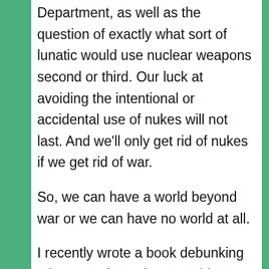Department, as well as the question of exactly what sort of lunatic would use nuclear weapons second or third. Our luck at avoiding the intentional or accidental use of nukes will not last. And we'll only get rid of nukes if we get rid of war.
So, we can have a world beyond war or we can have no world at all.
I recently wrote a book debunking misconceptions about World War II, and lies justifying the nuclear bombings are a major part of the problem. But they are failing so fast that Malcom Gladwell just published a book substituting the firebombing of dozens of Japanese cities prior to the nuclear